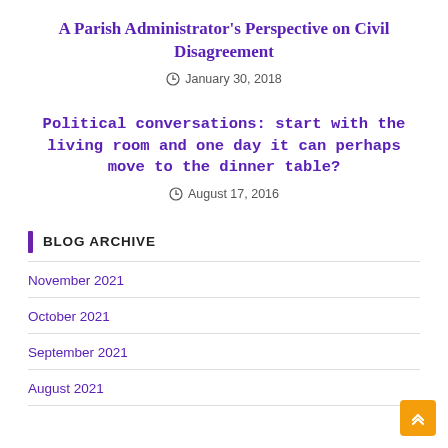A Parish Administrator's Perspective on Civil Disagreement
January 30, 2018
Political conversations: start with the living room and one day it can perhaps move to the dinner table?
August 17, 2016
BLOG ARCHIVE
November 2021
October 2021
September 2021
August 2021